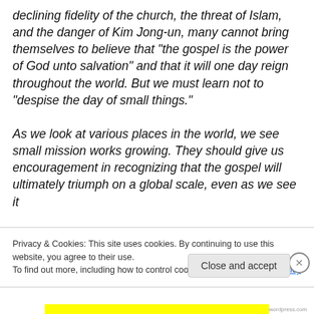declining fidelity of the church, the threat of Islam, and the danger of Kim Jong-un, many cannot bring themselves to believe that "the gospel is the power of God unto salvation" and that it will one day reign throughout the world. But we must learn not to "despise the day of small things."

As we look at various places in the world, we see small mission works growing. They should give us encouragement in recognizing that the gospel will ultimately triumph on a global scale, even as we see it
Privacy & Cookies: This site uses cookies. By continuing to use this website, you agree to their use.
To find out more, including how to control cookies, see here: Cookie Policy
Close and accept